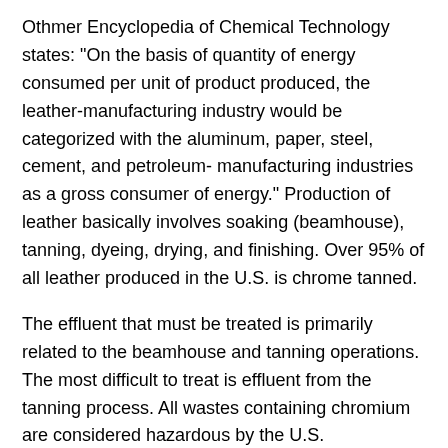Othmer Encyclopedia of Chemical Technology states: "On the basis of quantity of energy consumed per unit of product produced, the leather-manufacturing industry would be categorized with the aluminum, paper, steel, cement, and petroleum- manufacturing industries as a gross consumer of energy." Production of leather basically involves soaking (beamhouse), tanning, dyeing, drying, and finishing. Over 95% of all leather produced in the U.S. is chrome tanned.
The effluent that must be treated is primarily related to the beamhouse and tanning operations. The most difficult to treat is effluent from the tanning process. All wastes containing chromium are considered hazardous by the U.S. Environmental Protection Agency (EPA). Many other pollutants involved in the processing of leather are associated with environmental and health risks. In terms of disposal, one would think that leather products would be biodegradable, but the tanning of materials restricts its stability the